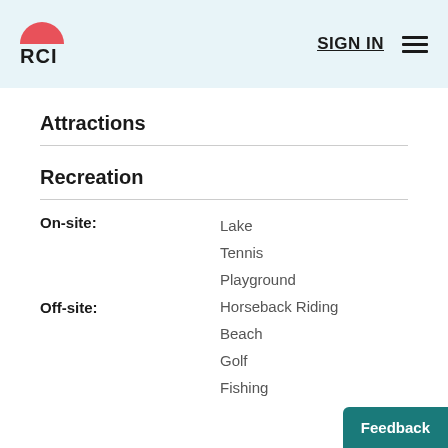RCI  SIGN IN
Attractions
Recreation
On-site: Lake
Tennis
Playground
Off-site: Horseback Riding
Beach
Golf
Fishing